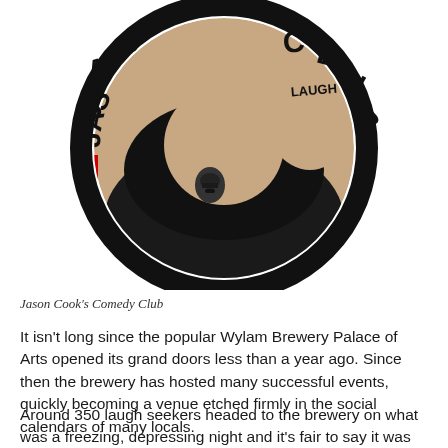[Figure (photo): Circular logo/photo of Jason Cook's Comedy Club: a person in a black hoodie with a Darth Vader print holds up their hand showing 'LAUGH' written on the palm. The circular image is bordered by a thick black ring with the text 'JAS' on the upper left and 'CLUB' on the upper right.]
Jason Cook's Comedy Club
It isn't long since the popular Wylam Brewery Palace of Arts opened its grand doors less than a year ago. Since then the brewery has hosted many successful events, quickly becoming a venue etched firmly in the social calendars of many locals.
Around 350 laugh seekers headed to the brewery on what was a freezing, depressing night and it's fair to say it was definitely worth the trip.